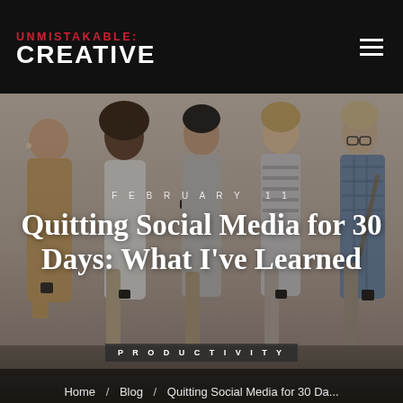UNMISTAKABLE CREATIVE
[Figure (photo): Five young people standing against a light grey wall, all looking down at their smartphones. From left: a man with short hair wearing tan shirt, a woman with natural hair wearing white top, a woman with dark hair wearing grey, a woman with light hair wearing striped outfit, and a man with glasses wearing a blue plaid shirt.]
FEBRUARY 11
Quitting Social Media for 30 Days: What I’ve Learned
PRODUCTIVITY
Home / Blog / Quitting Social Media for 30 Da...